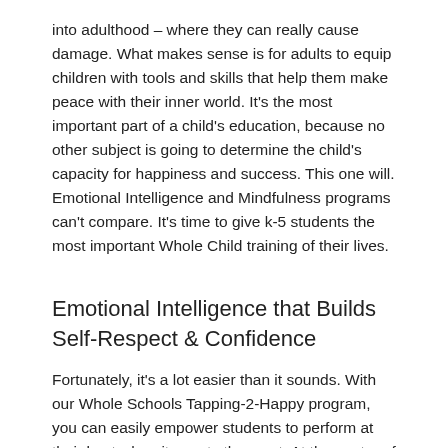into adulthood – where they can really cause damage. What makes sense is for adults to equip children with tools and skills that help them make peace with their inner world. It's the most important part of a child's education, because no other subject is going to determine the child's capacity for happiness and success. This one will. Emotional Intelligence and Mindfulness programs can't compare. It's time to give k-5 students the most important Whole Child training of their lives.
Emotional Intelligence that Builds Self-Respect & Confidence
Fortunately, it's a lot easier than it sounds. With our Whole Schools Tapping-2-Happy program, you can easily empower students to perform at their best when it counts the most. At the center of the K-4 program is